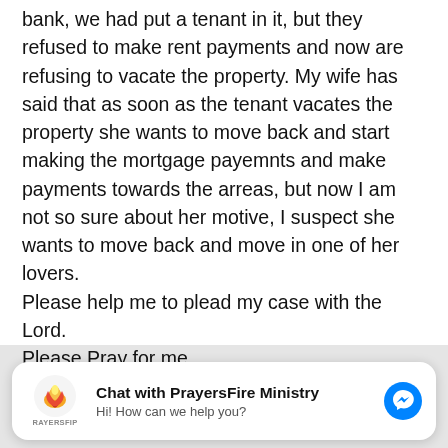bank, we had put a tenant in it, but they refused to make rent payments and now are refusing to vacate the property. My wife has said that as soon as the tenant vacates the property she wants to move back and start making the mortgage payemnts and make payments towards the arreas, but now I am not so sure about her motive, I suspect she wants to move back and move in one of her lovers.
Please help me to plead my case with the Lord.
Please Pray for me.
[Figure (other): Chat widget for PrayersFire Ministry with logo, title 'Chat with PrayersFire Ministry', subtitle 'Hi! How can we help you?', and a blue Messenger icon.]